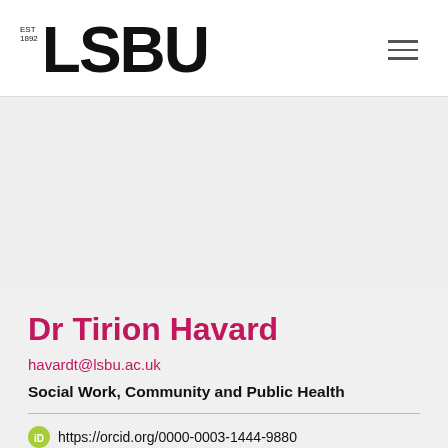[Figure (logo): LSBU logo with EST 1892 text and large bold LSBU wordmark]
[Figure (other): Hamburger menu icon (three horizontal lines)]
Dr Tirion Havard
havardt@lsbu.ac.uk
Social Work, Community and Public Health
https://orcid.org/0000-0003-1444-9880